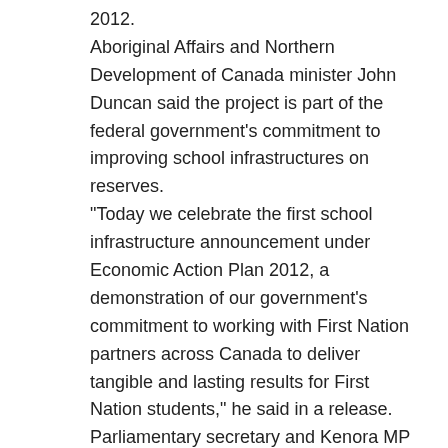2012.
Aboriginal Affairs and Northern Development of Canada minister John Duncan said the project is part of the federal government’s commitment to improving school infrastructures on reserves.
“Today we celebrate the first school infrastructure announcement under Economic Action Plan 2012, a demonstration of our government’s commitment to working with First Nation partners across Canada to deliver tangible and lasting results for First Nation students,” he said in a release.
Parliamentary secretary and Kenora MP Greg Rickford added that the construction phase will create employment and training opportunities for the community.
The First Nation will be responsible for managing all aspects of the school’s construction, including administration. Project costs will be finalized once the competitive tendering process has been completed.
Fort Severn has a membership of about 621, with an on-reserve population of about 492 members.